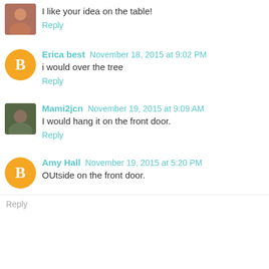I like your idea on the table!
Reply
Erica best November 18, 2015 at 9:02 PM
i would over the tree
Reply
Mami2jcn November 19, 2015 at 9:09 AM
I would hang it on the front door.
Reply
Amy Hall November 19, 2015 at 5:20 PM
OUtside on the front door.
Reply